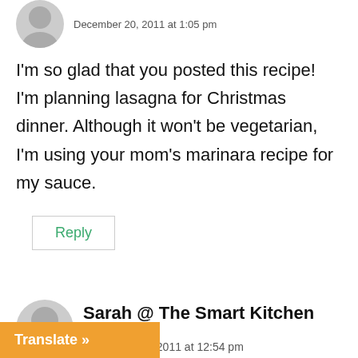December 20, 2011 at 1:05 pm
I'm so glad that you posted this recipe! I'm planning lasagna for Christmas dinner. Although it won't be vegetarian, I'm using your mom's marinara recipe for my sauce.
Reply
Sarah @ The Smart Kitchen says: December 20, 2011 at 12:54 pm
Translate »